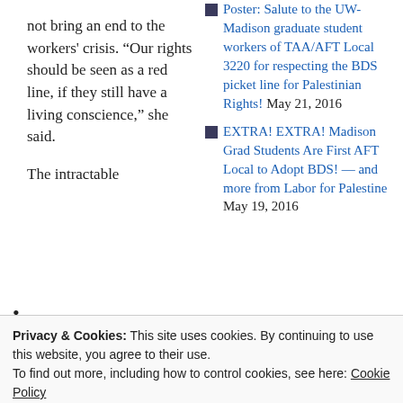not bring an end to the workers' crisis. "Our rights should be seen as a red line, if they still have a living conscience," she said.

The intractable
Poster: Salute to the UW-Madison graduate student workers of TAA/AFT Local 3220 for respecting the BDS picket line for Palestinian Rights! May 21, 2016
EXTRA! EXTRA! Madison Grad Students Are First AFT Local to Adopt BDS! — and more from Labor for Palestine May 19, 2016
Privacy & Cookies: This site uses cookies. By continuing to use this website, you agree to their use.
To find out more, including how to control cookies, see here: Cookie Policy
Close and accept